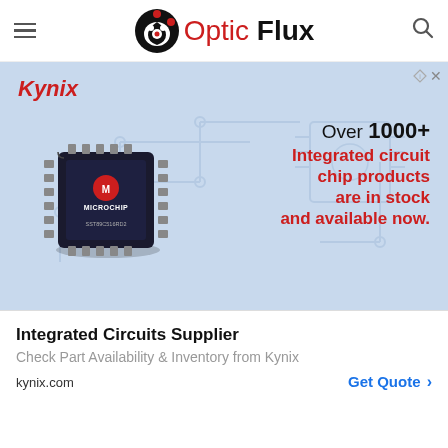Optic Flux
[Figure (photo): Kynix advertisement banner showing a Microchip IC chip with text: Kynix logo, Over 1000+ Integrated circuit chip products are in stock and available now.]
Integrated Circuits Supplier
Check Part Availability & Inventory from Kynix
kynix.com
Get Quote >